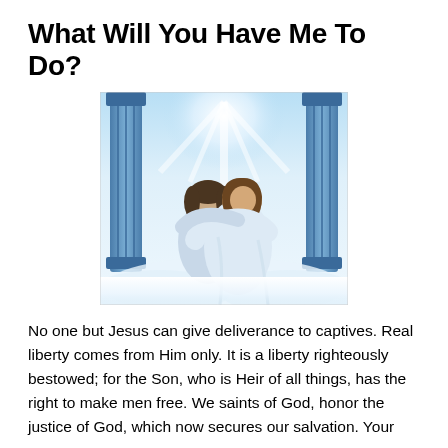What Will You Have Me To Do?
[Figure (illustration): Religious illustration showing Jesus Christ embracing a person, with pillars, white light, and heavenly clouds in the background.]
No one but Jesus can give deliverance to captives. Real liberty comes from Him only. It is a liberty righteously bestowed; for the Son, who is Heir of all things, has the right to make men free. We saints of God, honor the justice of God, which now secures our salvation. Your